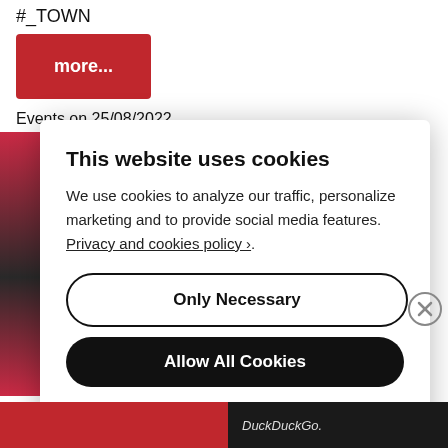#_TOWN
more...
Events on 25/08/2022
This website uses cookies
We use cookies to analyze our traffic, personalize marketing and to provide social media features. Privacy and cookies policy ›.
Only Necessary
Allow All Cookies
Configure Settings ›
DuckDuckGo.